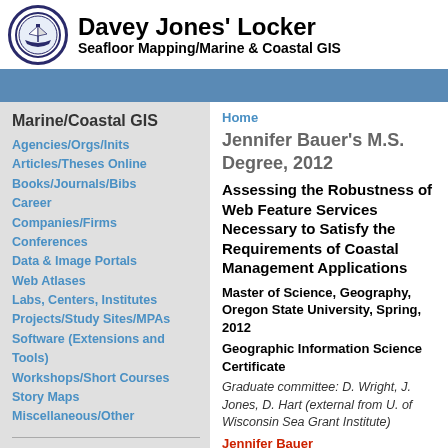Davey Jones' Locker — Seafloor Mapping/Marine & Coastal GIS
Marine/Coastal GIS
Agencies/Orgs/Inits
Articles/Theses Online
Books/Journals/Bibs
Career
Companies/Firms
Conferences
Data & Image Portals
Web Atlases
Labs, Centers, Institutes
Projects/Study Sites/MPAs
Software (Extensions and Tools)
Workshops/Short Courses
Story Maps
Miscellaneous/Other
Navigation
Biblio
Recent content
Home
Jennifer Bauer's M.S. Degree, 2012
Assessing the Robustness of Web Feature Services Necessary to Satisfy the Requirements of Coastal Management Applications
Master of Science, Geography, Oregon State University, Spring, 2012
Geographic Information Science Certificate
Graduate committee: D. Wright, J. Jones, D. Hart (external from U. of Wisconsin Sea Grant Institute)
Jennifer Bauer